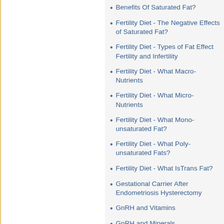Benefits Of Saturated Fat?
Fertility Diet - The Negative Effects of Saturated Fat?
Fertility Diet - Types of Fat Effect Fertility and Infertility
Fertility Diet - What Macro-Nutrients
Fertility Diet - What Micro-Nutrients
Fertility Diet - What Mono-unsaturated Fat?
Fertility Diet - What Poly-unsaturated Fats?
Fertility Diet - What IsTrans Fat?
Gestational Carrier After Endometriosis Hysterectomy
GnRH and Vitamins
GnRH and Minerals